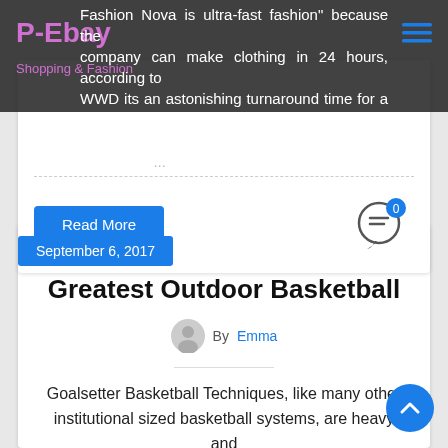P-Ebay — Shopping & Fashion
Fashion Nova is ultra-fast fashion" because the company can make clothing in 24 hours, according to WWD its an astonishing turnaround time for a brand, so intended because customers post so much online and ...
Read More
September 6, 2017
Greatest Outdoor Basketball
By Emma
Goalsetter Basketball Techniques, like many other institutional sized basketball systems, are heavy and